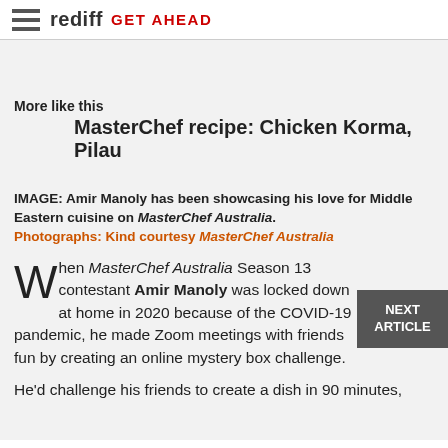rediff GET AHEAD
More like this
MasterChef recipe: Chicken Korma, Pilau
IMAGE: Amir Manoly has been showcasing his love for Middle Eastern cuisine on MasterChef Australia. Photographs: Kind courtesy MasterChef Australia
When MasterChef Australia Season 13 contestant Amir Manoly was locked down at home in 2020 because of the COVID-19 pandemic, he made Zoom meetings with friends fun by creating an online mystery box challenge.
He'd challenge his friends to create a dish in 90 minutes,